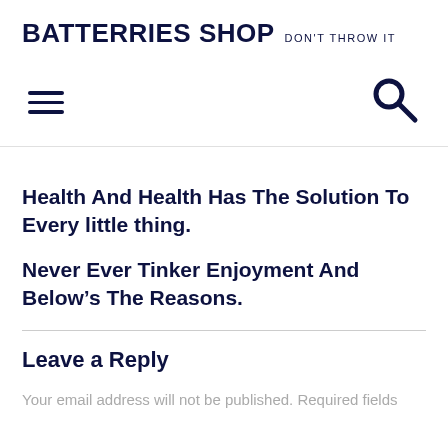BATTERRIES SHOP  DON'T THROW IT
[Figure (other): Hamburger menu icon (three horizontal lines) on the left and a search (magnifying glass) icon on the right, forming a navigation bar.]
Health And Health Has The Solution To Every little thing.
Never Ever Tinker Enjoyment And Below's The Reasons.
Leave a Reply
Your email address will not be published. Required fields